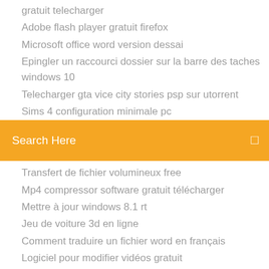gratuit telecharger
Adobe flash player gratuit firefox
Microsoft office word version dessai
Epingler un raccourci dossier sur la barre des taches windows 10
Telecharger gta vice city stories psp sur utorrent
Sims 4 configuration minimale pc
[Figure (screenshot): Orange search bar with text 'Search Here' and a search icon on the right]
Transfert de fichier volumineux free
Mp4 compressor software gratuit télécharger
Mettre à jour windows 8.1 rt
Jeu de voiture 3d en ligne
Comment traduire un fichier word en français
Logiciel pour modifier vidéos gratuit
Angry birds pc complete version
Exemple question une famille en or
Sims 4 ou est le gateau de mariage
Telecharger dlc the witcher 3